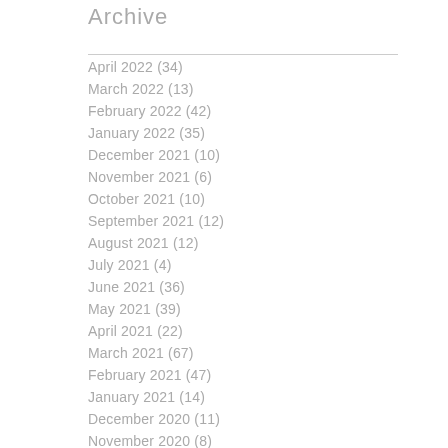Archive
April 2022 (34)
March 2022 (13)
February 2022 (42)
January 2022 (35)
December 2021 (10)
November 2021 (6)
October 2021 (10)
September 2021 (12)
August 2021 (12)
July 2021 (4)
June 2021 (36)
May 2021 (39)
April 2021 (22)
March 2021 (67)
February 2021 (47)
January 2021 (14)
December 2020 (11)
November 2020 (8)